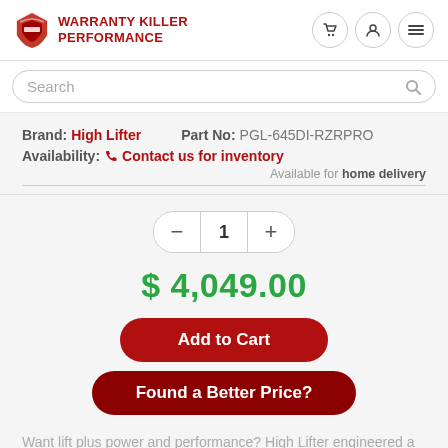[Figure (logo): Warranty Killer Performance logo with red spartan helmet icon and red text]
Search
Brand: High Lifter   Part No: PGL-645DI-RZRPRO
Availability: ☎ Contact us for inventory
Available for home delivery
1
$ 4,049.00
Add to Cart
Found a Better Price?
Want lift plus power and performance? High Lifter engineered a